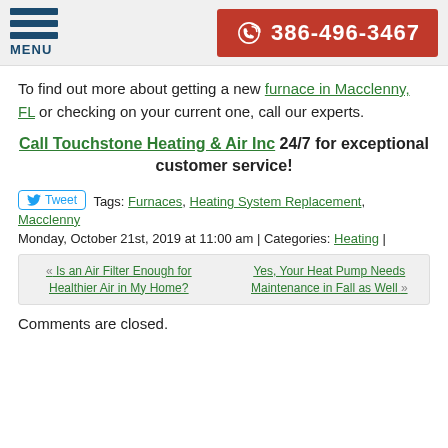MENU | 386-496-3467
To find out more about getting a new furnace in Macclenny, FL or checking on your current one, call our experts.
Call Touchstone Heating & Air Inc 24/7 for exceptional customer service!
Tweet  Tags: Furnaces, Heating System Replacement, Macclenny
Monday, October 21st, 2019 at 11:00 am | Categories: Heating |
« Is an Air Filter Enough for Healthier Air in My Home?   Yes, Your Heat Pump Needs Maintenance in Fall as Well »
Comments are closed.